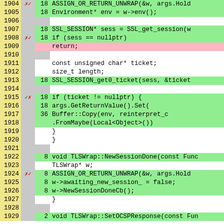[Figure (screenshot): Code coverage viewer showing C++ source code lines 1904-1929 with line numbers, coverage markers (red X, green checkmark), execution counts, and code content. Lines with green background are covered, line 1909 with pink background is uncovered (return statement).]